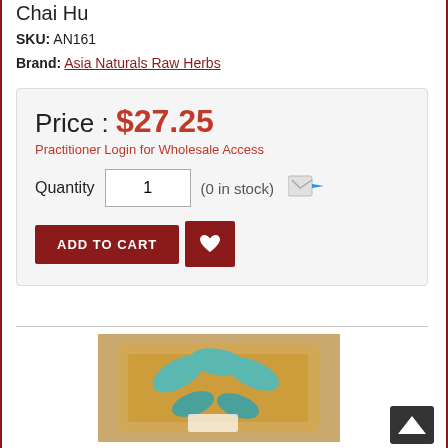Chai Hu
SKU: AN161
Brand: Asia Naturals Raw Herbs
Price : $27.25
Practitioner Login for Wholesale Access
Quantity 1 (0 in stock)
ADD TO CART
[Figure (photo): Bag of Chai Hu raw herbs with teal blue decorative leaves]
[Figure (other): Back to top arrow button]